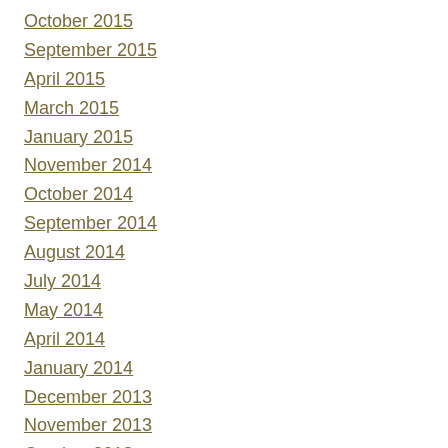October 2015
September 2015
April 2015
March 2015
January 2015
November 2014
October 2014
September 2014
August 2014
July 2014
May 2014
April 2014
January 2014
December 2013
November 2013
October 2013
September 2013
August 2013
July 2013